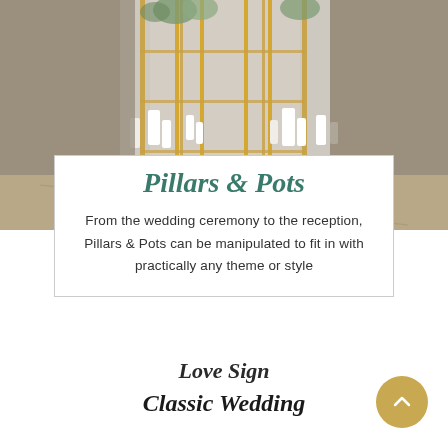[Figure (photo): Wedding ceremony decoration photo showing gold geometric frame structures with white candles and white drape curtain backdrop]
Pillars & Pots
From the wedding ceremony to the reception, Pillars & Pots can be manipulated to fit in with practically any theme or style
Love Sign
Classic Wedding
A classic or traditional wedding is, often,